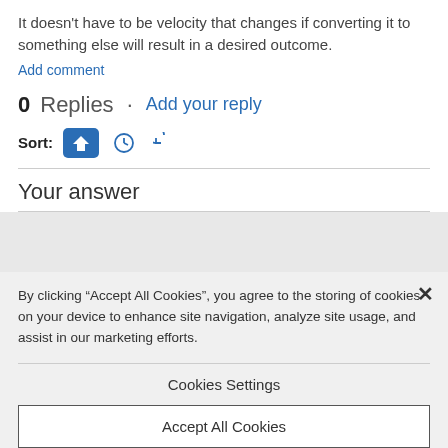It doesn't have to be velocity that changes if converting it to something else will result in a desired outcome.
Add comment
0 Replies · Add your reply
Sort:
Your answer
By clicking “Accept All Cookies”, you agree to the storing of cookies on your device to enhance site navigation, analyze site usage, and assist in our marketing efforts.
Cookies Settings
Accept All Cookies